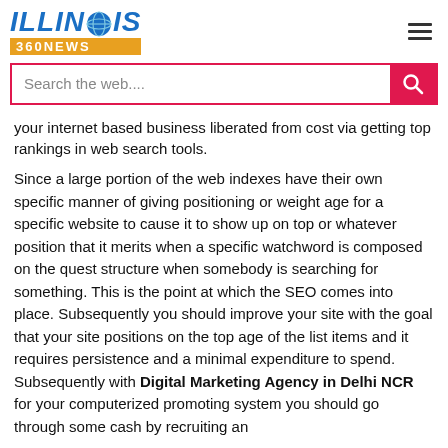ILLINOIS 360NEWS
Search the web....
your internet based business liberated from cost via getting top rankings in web search tools.
Since a large portion of the web indexes have their own specific manner of giving positioning or weight age for a specific website to cause it to show up on top or whatever position that it merits when a specific watchword is composed on the quest structure when somebody is searching for something. This is the point at which the SEO comes into place. Subsequently you should improve your site with the goal that your site positions on the top age of the list items and it requires persistence and a minimal expenditure to spend. Subsequently with Digital Marketing Agency in Delhi NCR for your computerized promoting system you should go through some cash by recruiting an